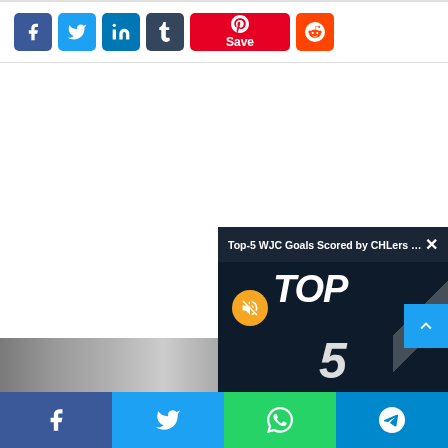[Figure (screenshot): Social share buttons row: Facebook (blue), Twitter (light blue), LinkedIn (dark blue), Tumblr (dark slate), Pinterest with Save label (red, wide), Reddit (orange-red)]
[Figure (screenshot): Video popup overlay in bottom right showing 'Top-5 WJC Goals Scored by CHLers durin...' title bar with X close button, dark background with 'TOP' text and '5' text in white bold italic, and a muted (yellow speaker) icon button. Diagonal stripe accent on right. Below the popup is a bottom image strip.]
[Figure (screenshot): Bottom share bar with four buttons: Facebook (blue), Twitter (blue), WhatsApp (green), Telegram (cyan)]